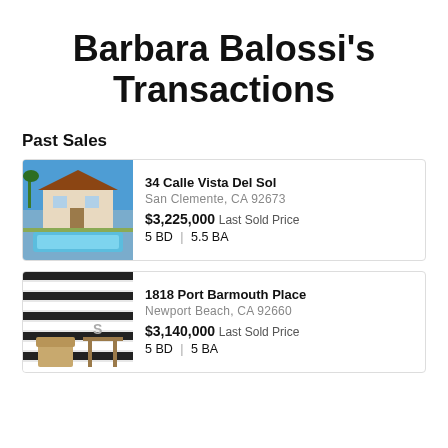Barbara Balossi's Transactions
Past Sales
[Figure (photo): Exterior photo of luxury home with pool at 34 Calle Vista Del Sol]
34 Calle Vista Del Sol
San Clemente, CA 92673
$3,225,000 Last Sold Price
5 BD | 5.5 BA
[Figure (photo): Interior photo of 1818 Port Barmouth Place with striped walls]
1818 Port Barmouth Place
Newport Beach, CA 92660
$3,140,000 Last Sold Price
5 BD | 5 BA